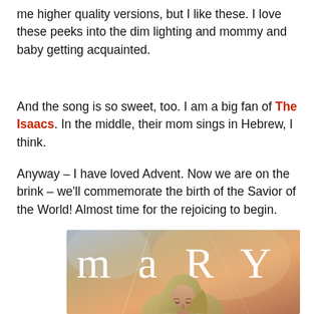me higher quality versions, but I like these.  I love these peeks into the dim lighting and mommy and baby getting acquainted.
And the song is so sweet, too.  I am a big fan of The Isaacs.  In the middle, their mom sings in Hebrew, I think.
Anyway – I have loved Advent.  Now we are on the brink – we'll commemorate the birth of the Savior of the World!  Almost time for the rejoicing to begin.
[Figure (illustration): Book cover or artwork showing the word MARY in large serif letters at the top, with an illustration of the Virgin Mary wearing a veil/head covering, looking downward, against a warm sunset sky background.]